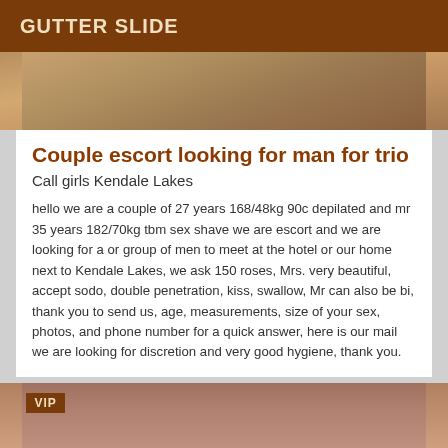GUTTER SLIDE
[Figure (photo): Partial close-up photo of a person, cropped at top]
Couple escort looking for man for trio
Call girls Kendale Lakes
hello we are a couple of 27 years 168/48kg 90c depilated and mr 35 years 182/70kg tbm sex shave we are escort and we are looking for a or group of men to meet at the hotel or our home next to Kendale Lakes, we ask 150 roses, Mrs. very beautiful, accept sodo, double penetration, kiss, swallow, Mr can also be bi, thank you to send us, age, measurements, size of your sex, photos, and phone number for a quick answer, here is our mail we are looking for discretion and very good hygiene, thank you.
[Figure (photo): Bottom partial photo of a person with curly hair, VIP badge overlay]